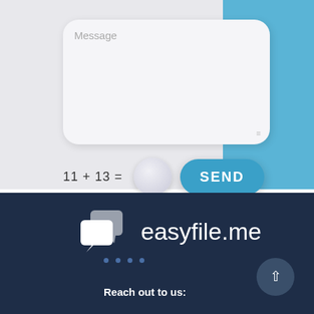[Figure (screenshot): Message textarea input field with placeholder text 'Message' and resize handle in bottom-right corner]
11 + 13 =
[Figure (other): CAPTCHA answer input circle (round button)]
[Figure (other): SEND button - blue pill-shaped button with white bold text]
[Figure (logo): easyfile.me logo with chat bubble icon on dark navy background]
Reach out to us: